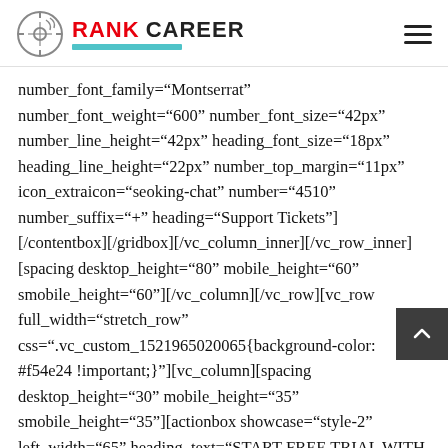RANK CAREER
number_font_family="Montserrat" number_font_weight="600" number_font_size="42px" number_line_height="42px" heading_font_size="18px" heading_line_height="22px" number_top_margin="11px" icon_extraicon="seoking-chat" number="4510" number_suffix="+" heading="Support Tickets"] [/contentbox][/gridbox][/vc_column_inner][/vc_row_inner] [spacing desktop_height="80" mobile_height="60" smobile_height="60"][/vc_column][/vc_row][vc_row full_width="stretch_row" css=".vc_custom_1521965020065{background-color: #f54e24 !important;}"][vc_column][spacing desktop_height="30" mobile_height="35" smobile_height="35"][actionbox showcase="style-2" left_width="65" heading_text="START FREE TRIAL WITH SEOKING MARKETING DESIGN" heading_color="#ffffff"